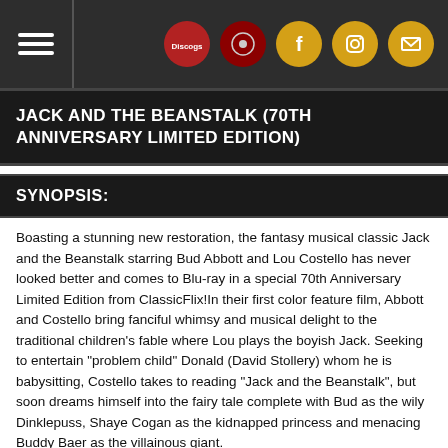Navigation header with hamburger menu and social icons (Discogs, record store, Facebook, Instagram, email)
JACK AND THE BEANSTALK (70TH ANNIVERSARY LIMITED EDITION)
SYNOPSIS:
Boasting a stunning new restoration, the fantasy musical classic Jack and the Beanstalk starring Bud Abbott and Lou Costello has never looked better and comes to Blu-ray in a special 70th Anniversary Limited Edition from ClassicFlix!In their first color feature film, Abbott and Costello bring fanciful whimsy and musical delight to the traditional children's fable where Lou plays the boyish Jack. Seeking to entertain "problem child" Donald (David Stollery) whom he is babysitting, Costello takes to reading "Jack and the Beanstalk", but soon dreams himself into the fairy tale complete with Bud as the wily Dinklepuss, Shaye Cogan as the kidnapped princess and menacing Buddy Baer as the villainous giant.
Directed by Jean Yarborough from a script by Nat Curtis, Jack and the Beanstalk imitated another musical fantasy familiar to all movie fans (The Wizard of Oz, 1939) by presenting its opening and closing